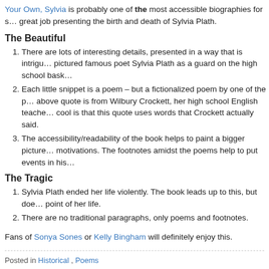Your Own, Sylvia is probably one of the most accessible biographies for s… great job presenting the birth and death of Sylvia Plath.
The Beautiful
There are lots of interesting details, presented in a way that is intriguing… pictured famous poet Sylvia Plath as a guard on the high school bask…
Each little snippet is a poem – but a fictionalized poem by one of the p… above quote is from Wilbury Crockett, her high school English teache… cool is that this quote uses words that Crockett actually said.
The accessibility/readability of the book helps to paint a bigger picture… motivations. The footnotes amidst the poems help to put events in his…
The Tragic
Sylvia Plath ended her life violently. The book leads up to this, but doe… point of her life.
There are no traditional paragraphs, only poems and footnotes.
Fans of Sonya Sones or Kelly Bingham will definitely enjoy this.
Posted in Historical , Poems
Tags: relationships